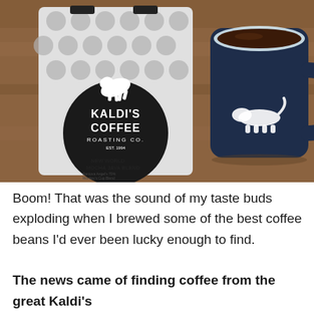[Figure (photo): Photo of a Kaldi's Coffee Roasting Co. bag of 'New World Mocha Java Blend' coffee next to a dark navy/black mug with a white dachshund dog silhouette on it, sitting on a wooden table. The coffee bag has a white polka-dot pattern with a black circular logo showing a jumping goat.]
Boom! That was the sound of my taste buds exploding when I brewed some of the best coffee beans I'd ever been lucky enough to find.
The news came of finding coffee from the great Kaldi's